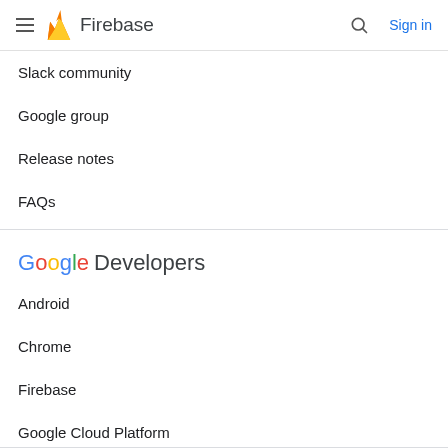Firebase
Slack community
Google group
Release notes
FAQs
[Figure (logo): Google Developers logo]
Android
Chrome
Firebase
Google Cloud Platform
All products